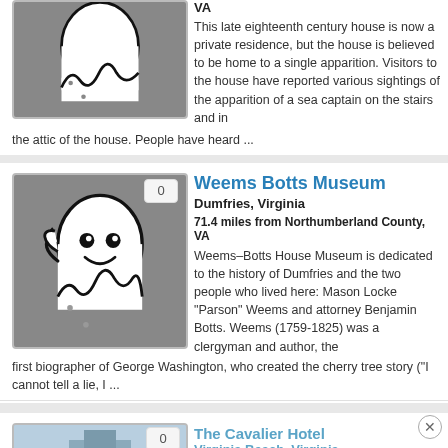[Figure (illustration): Ghost illustration on gray background, partial view at top]
VA
This late eighteenth century house is now a private residence, but the house is believed to be home to a single apparition. Visitors to the house have reported various sightings of the apparition of a sea captain on the stairs and in the attic of the house. People have heard ...
[Figure (illustration): Ghost illustration (friendly cartoon ghost) on gray background with badge showing 0]
Weems Botts Museum
Dumfries, Virginia
71.4 miles from Northumberland County, VA
Weems–Botts House Museum is dedicated to the history of Dumfries and the two people who lived here: Mason Locke "Parson" Weems and attorney Benjamin Botts. Weems (1759-1825) was a clergyman and author, the first biographer of George Washington, who created the cherry tree story ("I cannot tell a lie, I ...
The Cavalier Hotel
Virginia Beach, Virginia